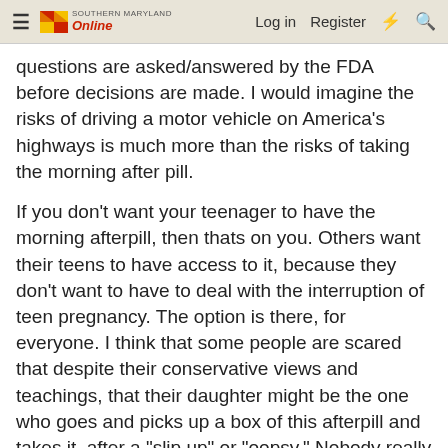Southern Maryland Online — Log in  Register
questions are asked/answered by the FDA before decisions are made. I would imagine the risks of driving a motor vehicle on America's highways is much more than the risks of taking the morning after pill.
If you don't want your teenager to have the morning afterpill, then thats on you. Others want their teens to have access to it, because they don't want to have to deal with the interruption of teen pregnancy. The option is there, for everyone. I think that some people are scared that despite their conservative views and teachings, that their daughter might be the one who goes and picks up a box of this afterpill and takes it, after a "slip up" or "oopsy." Nobody really wants to talk about what it takes to get their child to college, without pregnancy, without arrests, without the drug addiction etc. It takes things like this, thats a reality.
PsyOps
Pixelated